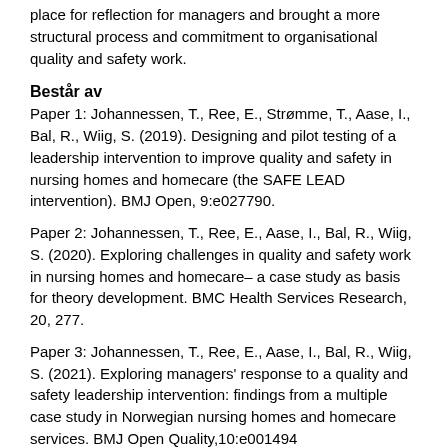place for reflection for managers and brought a more structural process and commitment to organisational quality and safety work.
Består av
Paper 1: Johannessen, T., Ree, E., Strømme, T., Aase, I., Bal, R., Wiig, S. (2019). Designing and pilot testing of a leadership intervention to improve quality and safety in nursing homes and homecare (the SAFE LEAD intervention). BMJ Open, 9:e027790.
Paper 2: Johannessen, T., Ree, E., Aase, I., Bal, R., Wiig, S. (2020). Exploring challenges in quality and safety work in nursing homes and homecare– a case study as basis for theory development. BMC Health Services Research, 20, 277.
Paper 3: Johannessen, T., Ree, E., Aase, I., Bal, R., Wiig, S. (2021). Exploring managers' response to a quality and safety leadership intervention: findings from a multiple case study in Norwegian nursing homes and homecare services. BMJ Open Quality,10:e001494
Utgiver
University of Stavanger, Norway